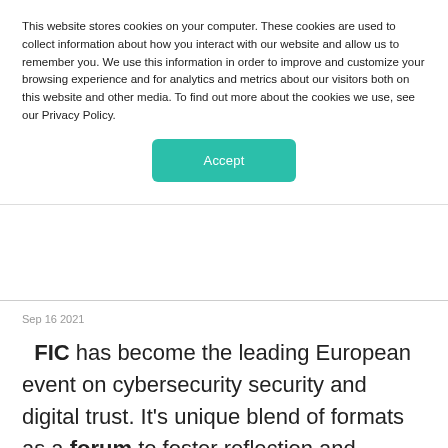This website stores cookies on your computer. These cookies are used to collect information about how you interact with our website and allow us to remember you. We use this information in order to improve and customize your browsing experience and for analytics and metrics about our visitors both on this website and other media. To find out more about the cookies we use, see our Privacy Policy.
Accept
Sep 16 2021
FIC has become the leading European event on cybersecurity security and digital trust. It's unique blend of formats as a forum to foster reflection and exchanges and as a trade fair for buyers and suppliers of cybersecurity